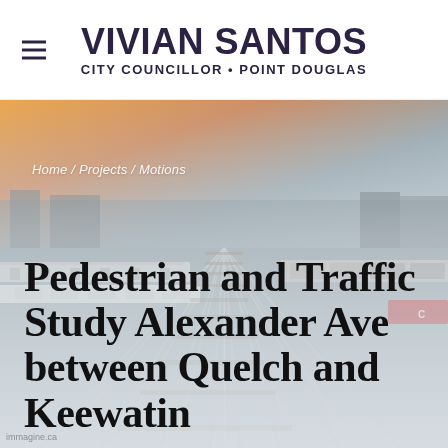VIVIAN SANTOS — CITY COUNCILLOR • POINT DOUGLAS
[Figure (photo): Aerial/wide-angle photo of a railroad freight yard at dusk/dawn, with long lines of freight cars and rail tracks stretching into the distance, warm orange sky in the background.]
Home / Projects / Motions
Pedestrian and Traffic Study Alexander Ave between Quelch and Keewatin